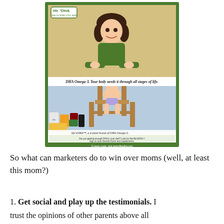[Figure (illustration): Full-page advertisement for life's DHA brand. Green border surrounds the ad. Top half shows a smiling woman in a green sweater leaning on her hands. Text reads 'DHA Omega-3. Your body needs it through all stages of life.' Bottom half shows a baby sitting on a high chair above various food and supplement products with the life's DHA logo. Small text at bottom with website www.lifesdha.com.]
So what can marketers do to win over moms (well, at least this mom?)
1. Get social and play up the testimonials. I trust the opinions of other parents above all